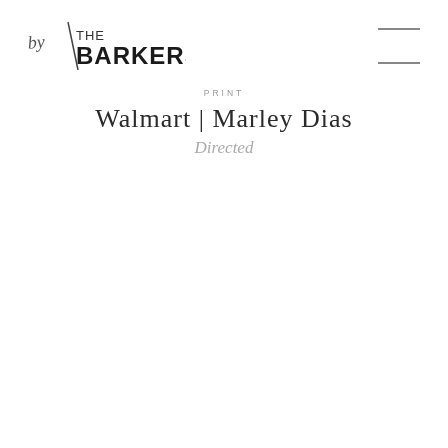[Figure (logo): by THE BARKERS logo — handwritten 'by' text combined with 'THE BARKERS' in mixed serif/sans-serif type]
PRINT
Walmart | Marley Dias
Directed